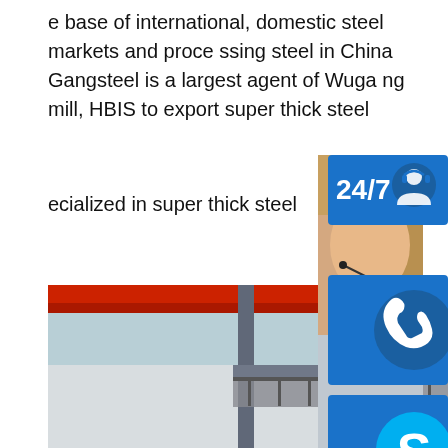e base of international, domestic steel markets and processing steel in China Gangsteel is a largest agent of Wugang mill, HBIS to export super thick steel plate. We ecialized in super thick steel
[Figure (photo): Industrial warehouse/factory interior with red overhead crane beam, steel structural beams, and large stacks of thick steel plates on a green-tinted concrete floor, with white industrial buildings visible in background]
[Figure (infographic): Overlay sidebar showing: 24/7 customer service icon (headset person icon on blue background), phone/call icon on blue background, Skype icon on blue background, a customer service representative woman with headset, PROVIDE Empowering Cus[tomers] text block, and orange 'online live' button]